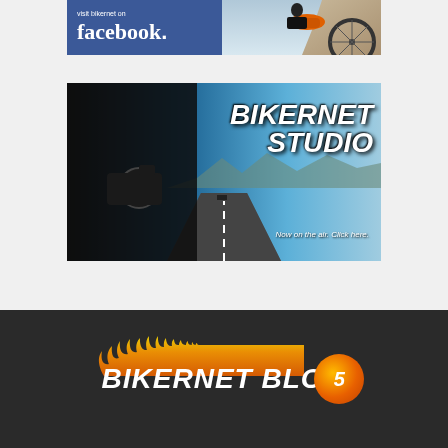[Figure (illustration): Facebook banner ad for Bikernet — blue left panel with 'visit bikernet on facebook.' text, right panel shows motorcycle and rider photo]
[Figure (illustration): Bikernet Studio advertisement banner — woman with video camera on left, open desert highway background, bold italic 'BIKERNET STUDIO' text on right, tagline 'Now on the air. Click here.']
[Figure (logo): Bikernet Blog logo on dark background — flame graphic above white bold italic text 'BIKERNET BLOG' with orange circle numbered 5 on the right]